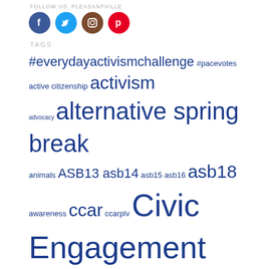FOLLOW US: PLEASANTVILLE
[Figure (illustration): Four social media icons in circles: Facebook (blue), Twitter (teal), Instagram (brown), Pinterest (red)]
TAGS
#everydayactivismchallenge #pacevotes active citizenship activism advocacy alternative spring break animals ASB13 asb14 asb15 asb16 asb18 awareness ccar ccarplv Civic Engagement Community Service Earth Month election 2012 election 2016 environment events Make a Difference Day march for our lives nyc Pace university PaceVotes2020 pleasantville PLV political engagement politics project pericles semester recap service Social Justice spotlight student reflections superstorm sandy Take Action volunteer volunteering vote